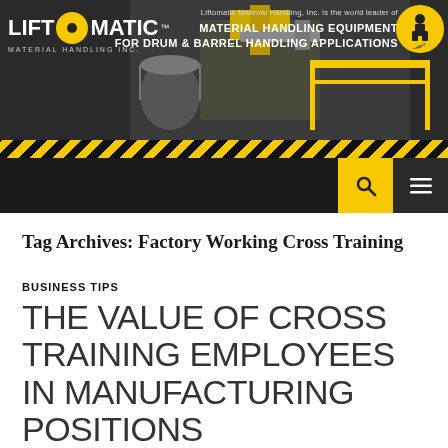[Figure (other): Liftomatic Material Handling Inc. website header banner with logo, machinery photo, and text: MATERIAL HANDLING EQUIPMENT FOR DRUM & BARREL HANDLING APPLICATIONS]
Liftomatic Material Handling, Inc. is the world leader of MATERIAL HANDLING EQUIPMENT FOR DRUM & BARREL HANDLING APPLICATIONS
Tag Archives: Factory Working Cross Training
BUSINESS TIPS
THE VALUE OF CROSS TRAINING EMPLOYEES IN MANUFACTURING POSITIONS